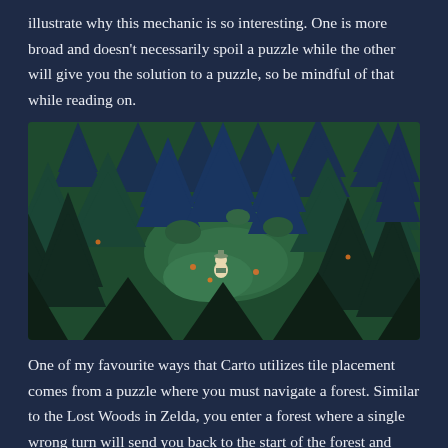illustrate why this mechanic is so interesting. One is more broad and doesn't necessarily spoil a puzzle while the other will give you the solution to a puzzle, so be mindful of that while reading on.
[Figure (screenshot): A top-down view of a dense forest scene from the game Carto, featuring dark blue-green conifer trees and a small character standing in a clearing among the trees.]
One of my favourite ways that Carto utilizes tile placement comes from a puzzle where you must navigate a forest. Similar to the Lost Woods in Zelda, you enter a forest where a single wrong turn will send you back to the start of the forest and everything looks